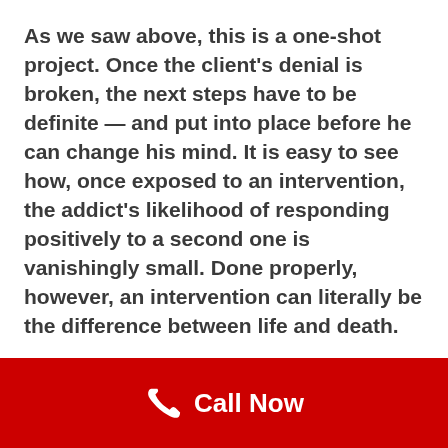As we saw above, this is a one-shot project. Once the client's denial is broken, the next steps have to be definite — and put into place before he can change his mind. It is easy to see how, once exposed to an intervention, the addict's likelihood of responding positively to a second one is vanishingly small. Done properly, however, an intervention can literally be the difference between life and death.
It was for this addict/alcoholic.
Call Now